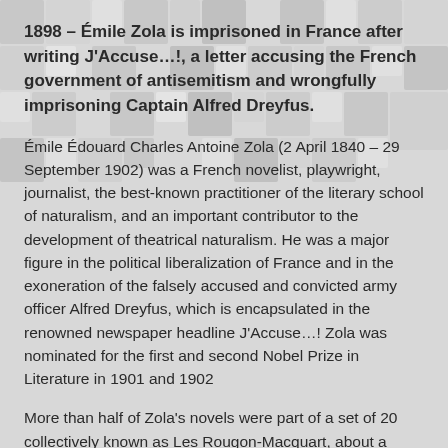1898 – Émile Zola is imprisoned in France after writing J'Accuse…!, a letter accusing the French government of antisemitism and wrongfully imprisoning Captain Alfred Dreyfus.
Émile Édouard Charles Antoine Zola (2 April 1840 – 29 September 1902) was a French novelist, playwright, journalist, the best-known practitioner of the literary school of naturalism, and an important contributor to the development of theatrical naturalism. He was a major figure in the political liberalization of France and in the exoneration of the falsely accused and convicted army officer Alfred Dreyfus, which is encapsulated in the renowned newspaper headline J'Accuse…! Zola was nominated for the first and second Nobel Prize in Literature in 1901 and 1902
More than half of Zola's novels were part of a set of 20 collectively known as Les Rougon-Macquart, about a family